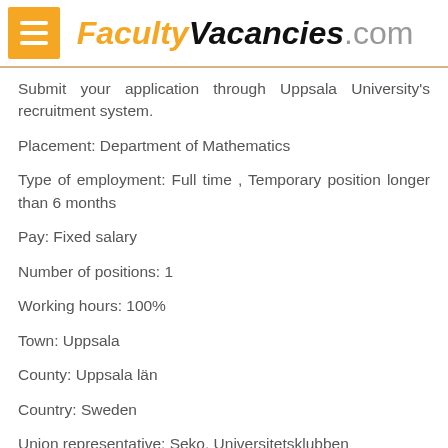FacultyVacancies.com
Submit your application through Uppsala University's recruitment system.
Placement: Department of Mathematics
Type of employment: Full time , Temporary position longer than 6 months
Pay: Fixed salary
Number of positions: 1
Working hours: 100%
Town: Uppsala
County: Uppsala län
Country: Sweden
Union representative: Seko, Universitetsklubben